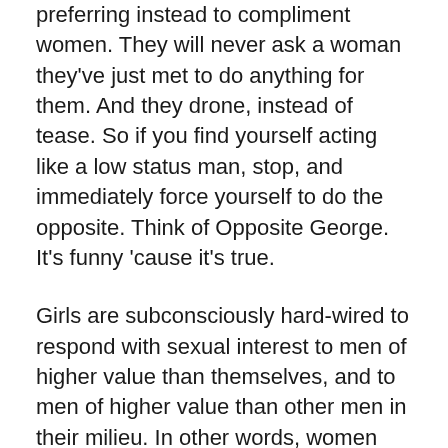preferring instead to compliment women. They will never ask a woman they've just met to do anything for them. And they drone, instead of tease. So if you find yourself acting like a low status man, stop, and immediately force yourself to do the opposite. Think of Opposite George. It's funny 'cause it's true.
Girls are subconsciously hard-wired to respond with sexual interest to men of higher value than themselves, and to men of higher value than other men in their milieu. In other words, women are attracted to dominant men, and dominance is relative to social conditions. A penniless singer in a crappy indie band can get as much play as a high-powered lawyer, because their social status recall that crowd that dominates the